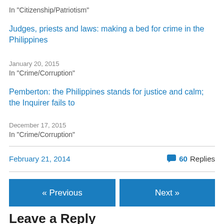In "Citizenship/Patriotism"
Judges, priests and laws: making a bed for crime in the Philippines
January 20, 2015
In "Crime/Corruption"
Pemberton: the Philippines stands for justice and calm; the Inquirer fails to
December 17, 2015
In "Crime/Corruption"
February 21, 2014
60 Replies
« Previous
Next »
Leave a Reply